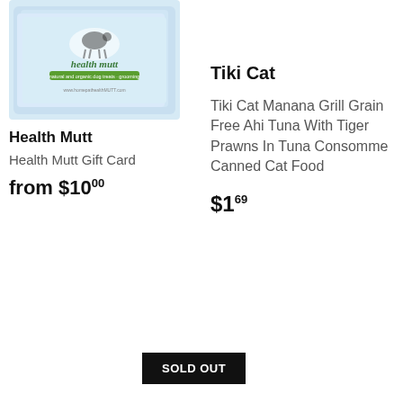[Figure (photo): Health Mutt product image - a light blue gift card with a dog illustration and 'health mutt' branding text]
Health Mutt
Health Mutt Gift Card
from $10.00
Tiki Cat
Tiki Cat Manana Grill Grain Free Ahi Tuna With Tiger Prawns In Tuna Consomme Canned Cat Food
$1.69
SOLD OUT